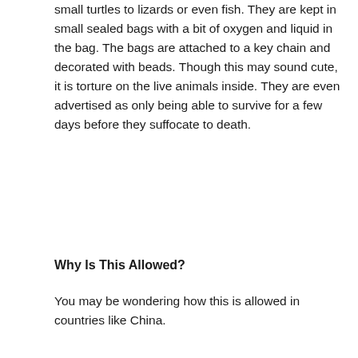small turtles to lizards or even fish. They are kept in small sealed bags with a bit of oxygen and liquid in the bag. The bags are attached to a key chain and decorated with beads. Though this may sound cute, it is torture on the live animals inside. They are even advertised as only being able to survive for a few days before they suffocate to death.
Why Is This Allowed?
You may be wondering how this is allowed in countries like China. The main reason has to do with the initial purpose of the key chains or portable pets. Most people have said they are for pet owners who want to buy a pet, tote them around town while they shop, take them home, and release them. They are not meant to stay in the bag as an ongoing key decoration. What the customers do with them after the purchase isn't necessarily what the initial intent was.
So, for that reason many of the laws in place for animal cruelty don't come into play. The laws, in many areas, are designed to stop companies or people who intentionally perform animal cruelty. If the